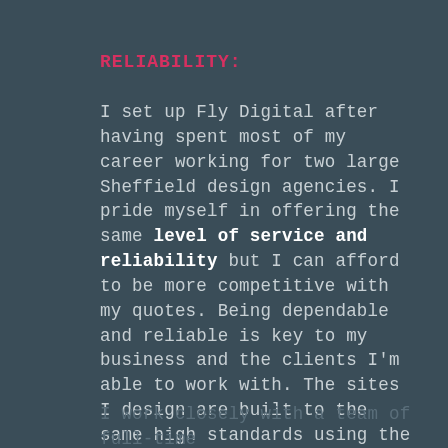RELIABILITY:
I set up Fly Digital after having spent most of my career working for two large Sheffield design agencies. I pride myself in offering the same level of service and reliability but I can afford to be more competitive with my quotes. Being dependable and reliable is key to my business and the clients I'm able to work with. The sites I design are built to the same high standards using the latest technologies and coding languages.
I work closely with a team of full-time